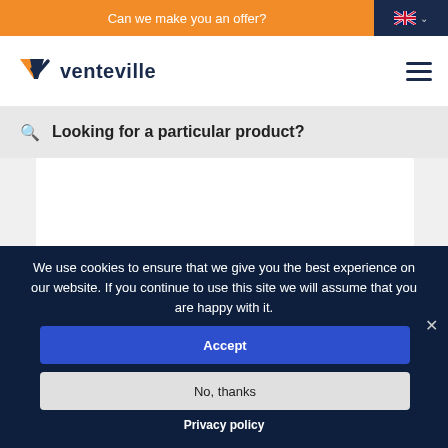Can we make you an offer?
[Figure (logo): Venteville logo with orange and navy checkmark V icon and the text 'venteville']
Looking for a particular product?
We use cookies to ensure that we give you the best experience on our website. If you continue to use this site we will assume that you are happy with it.
Accept
No, thanks
Privacy policy